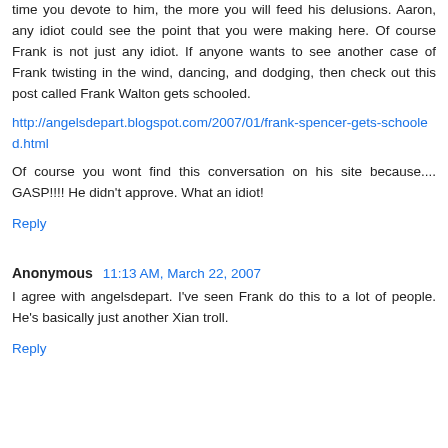time you devote to him, the more you will feed his delusions. Aaron, any idiot could see the point that you were making here. Of course Frank is not just any idiot. If anyone wants to see another case of Frank twisting in the wind, dancing, and dodging, then check out this post called Frank Walton gets schooled.
http://angelsdepart.blogspot.com/2007/01/frank-spencer-gets-schooled.html
Of course you wont find this conversation on his site because.... GASP!!!! He didn't approve. What an idiot!
Reply
Anonymous  11:13 AM, March 22, 2007
I agree with angelsdepart. I've seen Frank do this to a lot of people. He's basically just another Xian troll.
Reply